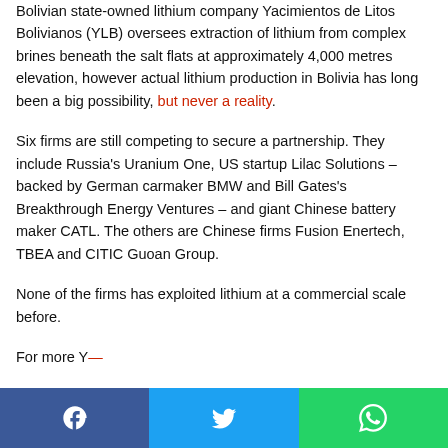Bolivian state-owned lithium company Yacimientos de Litos Bolivianos (YLB) oversees extraction of lithium from complex brines beneath the salt flats at approximately 4,000 metres elevation, however actual lithium production in Bolivia has long been a big possibility, but never a reality.
Six firms are still competing to secure a partnership. They include Russia's Uranium One, US startup Lilac Solutions – backed by German carmaker BMW and Bill Gates's Breakthrough Energy Ventures – and giant Chinese battery maker CATL. The others are Chinese firms Fusion Enertech, TBEA and CITIC Guoan Group.
None of the firms has exploited lithium at a commercial scale before.
For more Y...